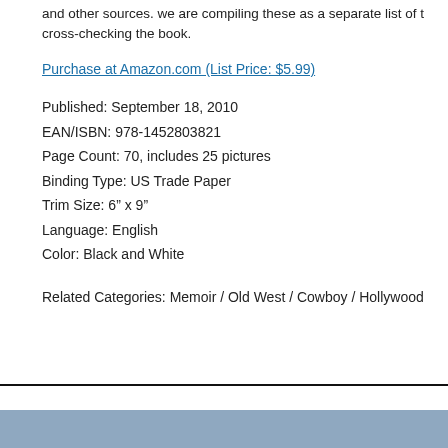and other sources. we are compiling these as a separate list of t... cross-checking the book.
Purchase at Amazon.com (List Price: $5.99)
Published: September 18, 2010
EAN/ISBN: 978-1452803821
Page Count: 70, includes 25 pictures
Binding Type: US Trade Paper
Trim Size: 6” x 9”
Language: English
Color: Black and White
Related Categories: Memoir / Old West / Cowboy / Hollywood